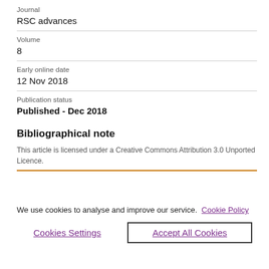Journal
RSC advances
Volume
8
Early online date
12 Nov 2018
Publication status
Published - Dec 2018
Bibliographical note
This article is licensed under a Creative Commons Attribution 3.0 Unported Licence.
We use cookies to analyse and improve our service. Cookie Policy
Cookies Settings
Accept All Cookies